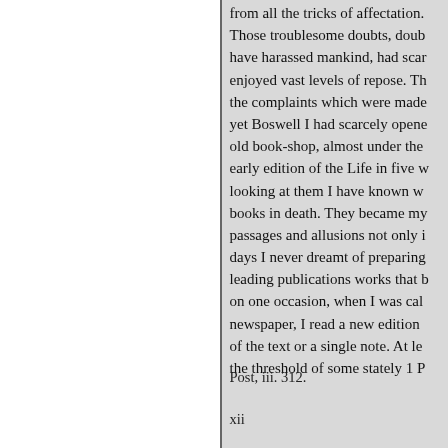from all the tricks of affectation. Those troublesome doubts, doub have harassed mankind, had scar enjoyed vast levels of repose. Th the complaints which were made yet Boswell I had scarcely opene old book-shop, almost under the early edition of the Life in five w looking at them I have known w books in death. They became my passages and allusions not only i days I never dreamt of preparing leading publications works that b on one occasion, when I was cal newspaper, I read a new edition of the text or a single note. At le the threshold of some stately 1 P
Post, iii. 312.
xii